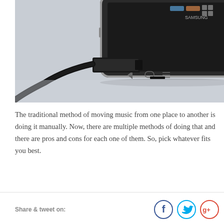[Figure (photo): Close-up photo of a black micro-USB cable plugged into the bottom of a dark Android smartphone, resting on a light gray surface. The phone screen shows app icons in the upper right.]
The traditional method of moving music from one place to another is doing it manually. Now, there are multiple methods of doing that and there are pros and cons for each one of them. So, pick whatever fits you best.
Share & tweet on: